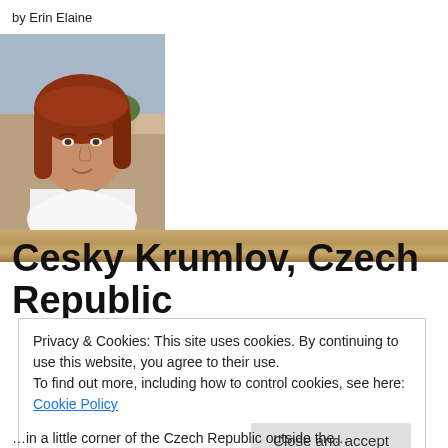by Erin Elaine
[Figure (photo): Headshot photo of a young woman with auburn/red hair, smiling, outdoors with buildings and vegetation in background]
Cesky Krumlov, Czech Republic
Privacy & Cookies: This site uses cookies. By continuing to use this website, you agree to their use.
To find out more, including how to control cookies, see here: Cookie Policy
Close and accept
…in a little corner of the Czech Republic outside the…